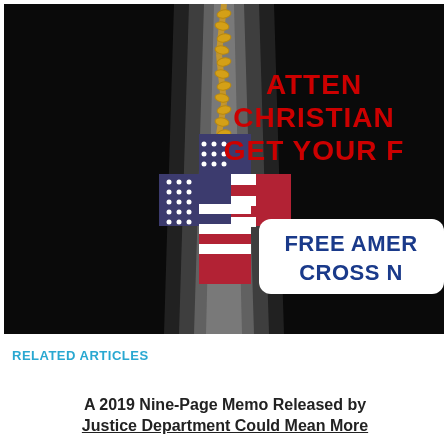[Figure (illustration): Advertisement image on black background showing a gold chain necklace with a cross pendant designed with an American flag pattern (blue stars and red/white stripes). A spotlight illuminates the cross from above. Red bold text on right reads 'ATTEN... CHRISTIAN ... GET YOUR F...' and a white rounded rectangle overlay reads 'FREE AMER... CROSS ...' in bold blue text.]
RELATED ARTICLES
A 2019 Nine-Page Memo Released by Justice Department Could Mean More...